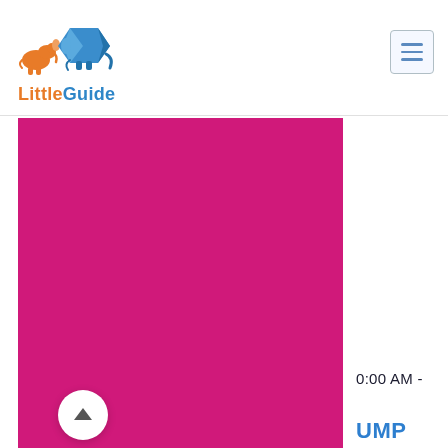[Figure (logo): LittleGuide logo: orange small elephant and blue origami elephant with text 'LittleGuide' in orange and blue]
[Figure (other): Large magenta/hot-pink solid color rectangular block, likely a featured event image placeholder]
0:00 AM -
UMP